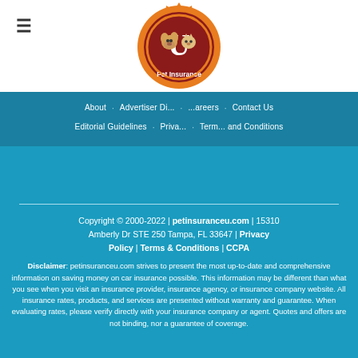[Figure (logo): Pet Insurance U circular badge logo with orange/red shield design, dog and cat faces, text 'Pet Insurance U']
About | Advertiser Disclosure | Careers | Contact Us | Editorial Guidelines | Privacy Policy | Terms and Conditions
Copyright © 2000-2022 | petinsuranceu.com | 15310 Amberly Dr STE 250 Tampa, FL 33647 | Privacy Policy | Terms & Conditions | CCPA
Disclaimer: petinsuranceu.com strives to present the most up-to-date and comprehensive information on saving money on car insurance possible. This information may be different than what you see when you visit an insurance provider, insurance agency, or insurance company website. All insurance rates, products, and services are presented without warranty and guarantee. When evaluating rates, please verify directly with your insurance company or agent. Quotes and offers are not binding, nor a guarantee of coverage.